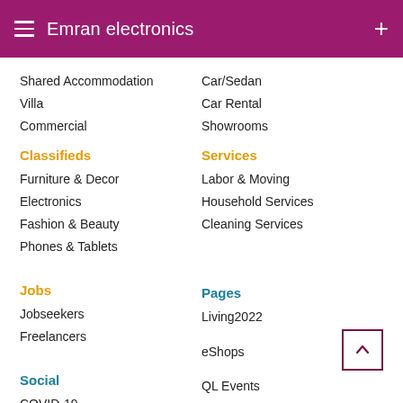Emran electronics
Shared Accommodation
Villa
Commercial
Car/Sedan
Car Rental
Showrooms
Classifieds
Services
Furniture & Decor
Electronics
Fashion & Beauty
Phones & Tablets
Labor & Moving
Household Services
Cleaning Services
Jobs
Pages
Jobseekers
Freelancers
Living2022
eShops
QL Events
Social
COVID-19